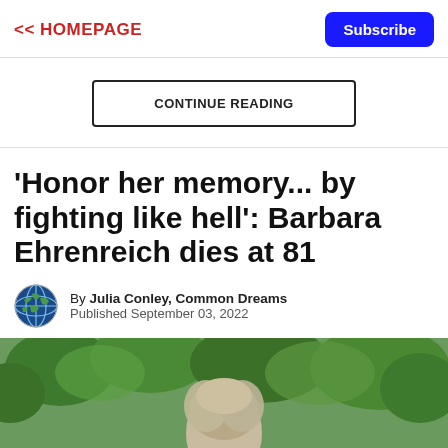<< HOMEPAGE
Subscribe
CONTINUE READING
'Honor her memory... by fighting like hell': Barbara Ehrenreich dies at 81
By Julia Conley, Common Dreams
Published September 03, 2022
[Figure (photo): Photo of Barbara Ehrenreich outdoors with greenery in the background]